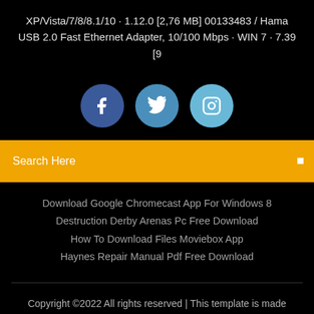XP/Vista/7/8/8.1/10 · 1.12.0 [2,76 MB] 00133483 / Hama USB 2.0 Fast Ethernet Adapter, 10/100 Mbps · WIN 7 · 7.39 [9
[Figure (infographic): Three social media icons: Facebook (dark blue circle), Twitter (medium blue circle), Instagram (light blue circle)]
Search Here
Download Google Chromecast App For Windows 8
Destruction Derby Arenas Pc Free Download
How To Download Files Moviebox App
Haynes Repair Manual Pdf Free Download
Copyright ©2022 All rights reserved | This template is made with ♡ by Colorlib